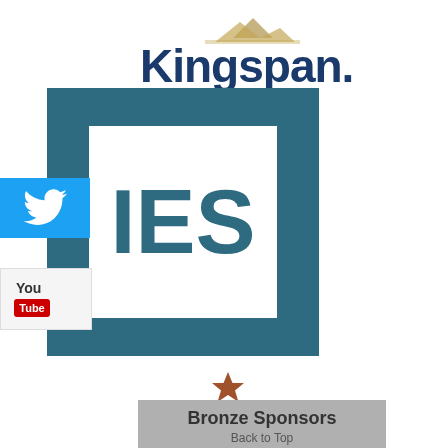[Figure (logo): Kingspan logo with brown mountain/landscape icon above text]
[Figure (logo): IES logo: dark teal square border with white inner square containing bold IES text in dark teal]
[Figure (logo): Twitter bird icon on cyan/blue background]
[Figure (logo): YouTube logo: You Tube text with red rectangle]
[Figure (illustration): Brown/copper star icon]
Bronze Sponsors
Back to Top